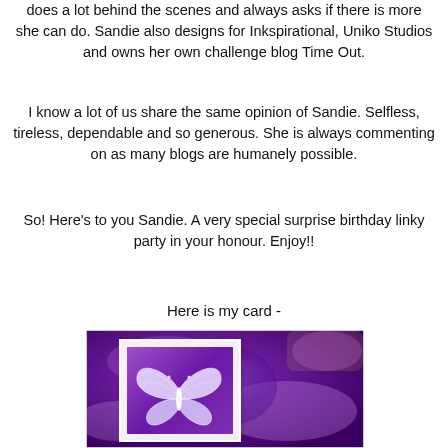does a lot behind the scenes and always asks if there is more she can do. Sandie also designs for Inkspirational, Uniko Studios and owns her own challenge blog Time Out.
I know a lot of us share the same opinion of Sandie. Selfless, tireless, dependable and so generous. She is always commenting on as many blogs are humanely possible.
So! Here's to you Sandie. A very special surprise birthday linky party in your honour. Enjoy!!
Here is my card -
[Figure (photo): A handmade birthday card with a white butterfly on a purple marbled/watercolor background, placed on a wooden surface.]